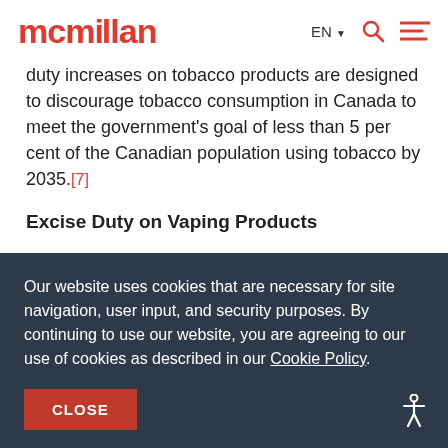mcmillan — EN navigation header
duty increases on tobacco products are designed to discourage tobacco consumption in Canada to meet the government's goal of less than 5 per cent of the Canadian population using tobacco by 2035.[7]
Excise Duty on Vaping Products
According to Budget 2021, the federal government
Our website uses cookies that are necessary for site navigation, user input, and security purposes. By continuing to use our website, you are agreeing to our use of cookies as described in our Cookie Policy.
CLOSE